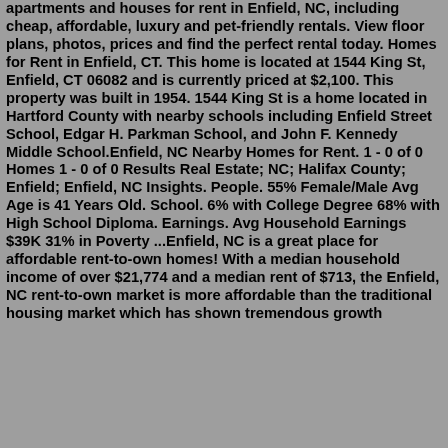apartments and houses for rent in Enfield, NC, including cheap, affordable, luxury and pet-friendly rentals. View floor plans, photos, prices and find the perfect rental today. Homes for Rent in Enfield, CT. This home is located at 1544 King St, Enfield, CT 06082 and is currently priced at $2,100. This property was built in 1954. 1544 King St is a home located in Hartford County with nearby schools including Enfield Street School, Edgar H. Parkman School, and John F. Kennedy Middle School.Enfield, NC Nearby Homes for Rent. 1 - 0 of 0 Homes 1 - 0 of 0 Results Real Estate; NC; Halifax County; Enfield; Enfield, NC Insights. People. 55% Female/Male Avg Age is 41 Years Old. School. 6% with College Degree 68% with High School Diploma. Earnings. Avg Household Earnings $39K 31% in Poverty ...Enfield, NC is a great place for affordable rent-to-own homes! With a median household income of over $21,774 and a median rent of $713, the Enfield, NC rent-to-own market is more affordable than the traditional housing market which has shown tremendous growth